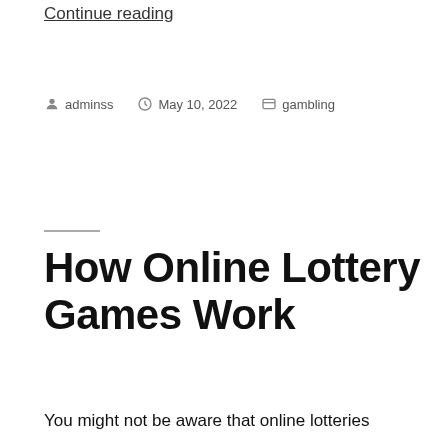Continue reading
By adminss   May 10, 2022   gambling
How Online Lottery Games Work
You might not be aware that online lotteries